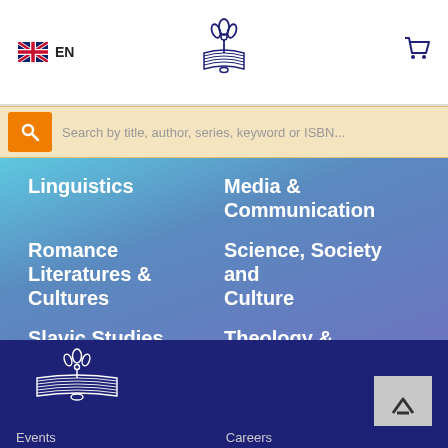[Figure (logo): Peter Lang publisher logo (flame/book symbol) centered in navigation bar]
[Figure (logo): UK flag icon with EN language label]
[Figure (screenshot): Shopping cart icon in navigation bar]
Search by title, author, series, keyword or ISBN...
Linguistics
Media & Communication
Romance Literatures & Cultures
Science, Society and Culture
Slavic Studies
Theology & Philosophy
[Figure (logo): Peter Lang white logo (flame and book) with PETER LANG text below, on dark blue footer background]
Events
Careers